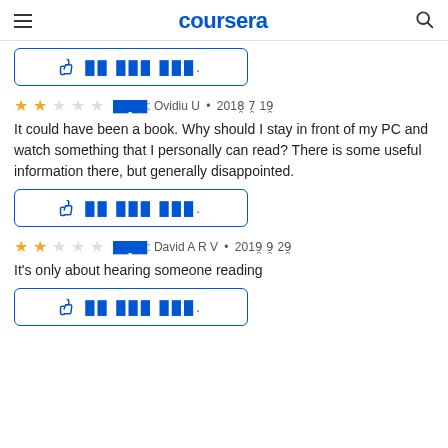coursera
[Figure (other): Like button box with thumbs up icon and redacted text]
★★☆☆☆  [redacted]: Ovidiu U • 2018년 7월 19일
It could have been a book. Why should I stay in front of my PC and watch something that I personally can read? There is some useful information there, but generally disappointed.
[Figure (other): Like button box with thumbs up icon and redacted text]
★★☆☆☆  [redacted]: David A R V • 2019년 9월 29일
It's only about hearing someone reading
[Figure (other): Like button box with thumbs up icon and redacted text]